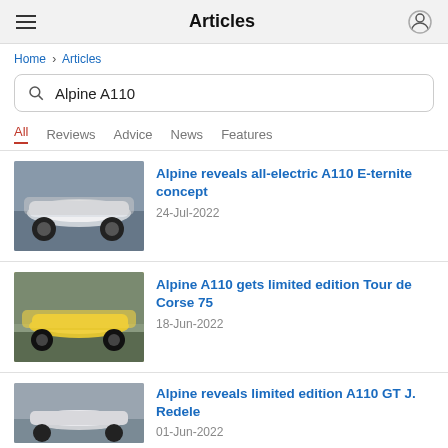Articles
Home › Articles
Alpine A110
All   Reviews   Advice   News   Features
[Figure (photo): White Alpine A110 sports car on a track]
Alpine reveals all-electric A110 E-ternite concept
24-Jul-2022
[Figure (photo): Yellow Alpine A110 Tour de Corse 75 on a road]
Alpine A110 gets limited edition Tour de Corse 75
18-Jun-2022
[Figure (photo): Silver Alpine A110 GT J. Redele]
Alpine reveals limited edition A110 GT J. Redele
01-Jun-2022